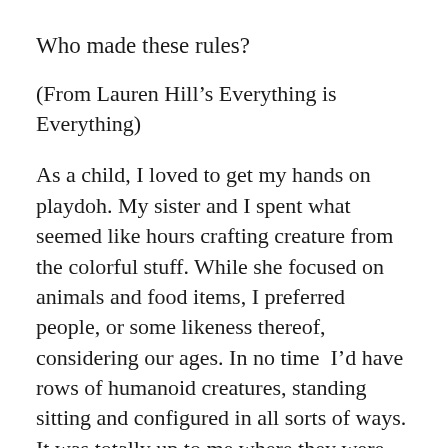Who made these rules?
(From Lauren Hill's Everything is Everything)
As a child, I loved to get my hands on playdoh. My sister and I spent what seemed like hours crafting creature from the colorful stuff. While she focused on animals and food items, I preferred people, or some likeness thereof, considering our ages. In no time  I'd have rows of humanoid creatures, standing sitting and configured in all sorts of ways.  It was totally up to me where they were placed, what I had them doing, and what their specific roles were in my game. It was my game because I made them. From the clump of clay, I crafted each one in